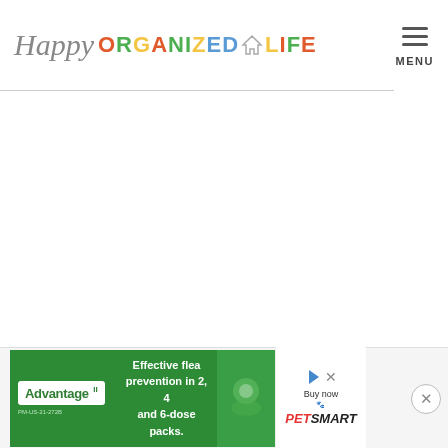Happy ORGANIZED LIFE — MENU
[Figure (screenshot): Large white blank content area of website]
[Figure (infographic): Advantage II flea prevention ad banner and PetSmart ad with close/skip buttons]